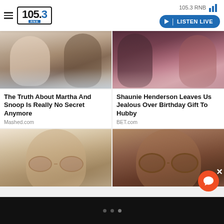105.3 RNB | LISTEN LIVE
[Figure (screenshot): Two article cards in a grid layout. Left: photo of Martha Stewart and Snoop Dogg together. Right: photo of Shaunie Henderson and her husband.]
The Truth About Martha And Snoop Is Really No Secret Anymore
Mashed.com
Shaunie Henderson Leaves Us Jealous Over Birthday Gift To Hubby
BET.com
[Figure (screenshot): Two more article cards. Left: close-up of a bald man wearing tinted glasses. Right: close-up of a woman wearing round tortoiseshell glasses.]
• • •